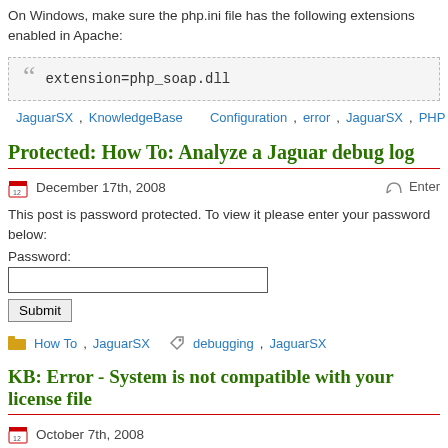On Windows, make sure the php.ini file has the following extensions enabled in Apache:
extension=php_soap.dll
JaguarSX, KnowledgeBase   Configuration, error, JaguarSX, PHP, SOAP, XM…
Protected: How To: Analyze a Jaguar debug log
December 17th, 2008
This post is password protected. To view it please enter your password below:
Password:
How To, JaguarSX   debugging, JaguarSX
KB: Error - System is not compatible with your license file
October 7th, 2008
The problem:
You get a message stating “Your system is not compatible with your license file, the file does not exist!”
Very rarely, you may experience this error when trying to start OidView. Usually o…